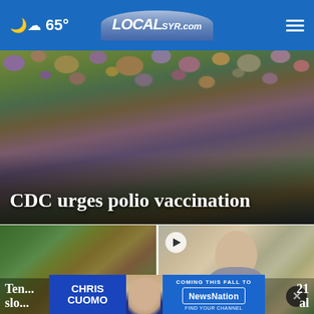65° LOCAL SYR.com
[Figure (photo): Close-up microscopic/3D rendered image of virus particles (polio) in purple and yellow-green colors against a dark background, serving as hero image for CDC polio vaccination story]
CDC urges polio vaccination
[Figure (photo): Left thumbnail: outdoor scene showing green trees and what appears to be highway signage]
[Figure (photo): Right thumbnail: man with short grey/silver hair outdoors in a park-like setting, with a video play button overlay]
Ten... slo...
...21 ...al
[Figure (infographic): Advertisement banner: Chris Cuomo - Coming This Fall to NewsNation. Find Your Channel.]